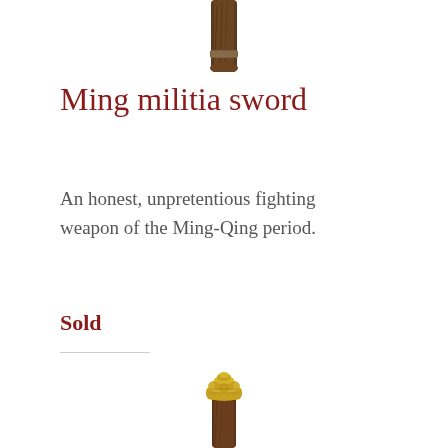[Figure (photo): Top portion of a Ming militia sword handle/pommel, showing worn dark brown wood and metal fittings, photographed against white background.]
Ming militia sword
An honest, unpretentious fighting weapon of the Ming-Qing period.
Sold
[Figure (photo): Bottom portion of a sword showing a ornate gold/brass pommel cap with decorative detailing, atop a dark brown wooden handle, photographed against white background.]